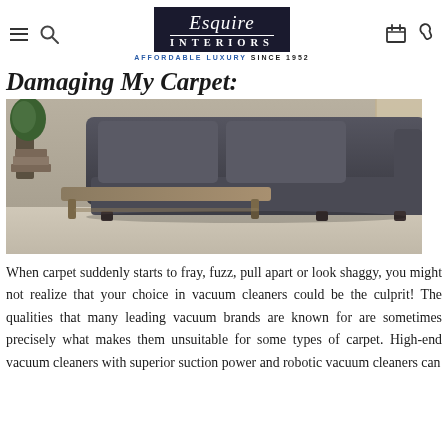Esquire Interiors — Affordable Luxury Since 1952
Damaging My Carpet:
[Figure (photo): Interior living room scene showing a dark grey sofa with cushions, a wooden coffee table, and light beige carpet flooring. A potted plant and books are visible in the background.]
When carpet suddenly starts to fray, fuzz, pull apart or look shaggy, you might not realize that your choice in vacuum cleaners could be the culprit! The qualities that many leading vacuum brands are known for are sometimes precisely what makes them unsuitable for some types of carpet. High-end vacuum cleaners with superior suction power and robotic vacuum cleaners can